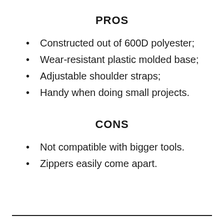PROS
Constructed out of 600D polyester;
Wear-resistant plastic molded base;
Adjustable shoulder straps;
Handy when doing small projects.
CONS
Not compatible with bigger tools.
Zippers easily come apart.